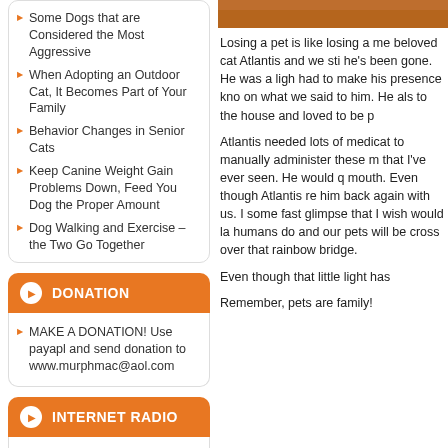Some Dogs that are Considered the Most Aggressive
When Adopting an Outdoor Cat, It Becomes Part of Your Family
Behavior Changes in Senior Cats
Keep Canine Weight Gain Problems Down, Feed You Dog the Proper Amount
Dog Walking and Exercise – the Two Go Together
DONATION
MAKE A DONATION! Use payapl and send donation to www.murphmac@aol.com
INTERNET RADIO
Edgewater Gold Radio
The Edgewater Internet Radio Network
[Figure (photo): Photo of a cat, brown/orange toned, cropped at top]
Losing a pet is like losing a me beloved cat Atlantis and we sti he's been gone. He was a ligh had to make his presence kno on what we said to him. He als to the house and loved to be p
Atlantis needed lots of medicat to manually administer these m that I've ever seen. He would q mouth. Even though Atlantis re him back again with us. I some fast glimpse that I wish would la humans do and our pets will be cross over that rainbow bridge.
Even though that little light has
Remember, pets are family!